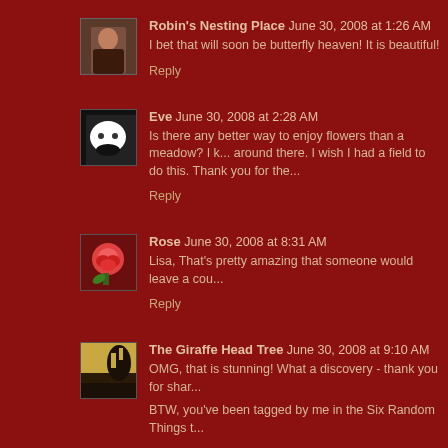Robin's Nesting Place  June 30, 2008 at 1:26 AM
I bet that will soon be butterfly heaven! It is beautiful!
Reply
Eve  June 30, 2008 at 2:28 AM
Is there any better way to enjoy flowers than a meadow? I k... around there. I wish I had a field to do this. Thank you for the...
Reply
Rose  June 30, 2008 at 8:31 AM
Lisa, That's pretty amazing that someone would leave a cou...
Reply
The Giraffe Head Tree  June 30, 2008 at 9:10 AM
OMG, that is stunning! What a discovery - thank you for shar...
BTW, you've been tagged by me in the Six Random Things t...
Reply